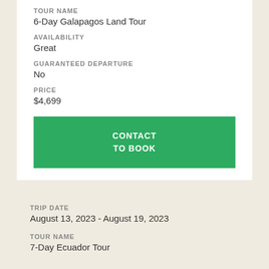TOUR NAME
6-Day Galapagos Land Tour
AVAILABILITY
Great
GUARANTEED DEPARTURE
No
PRICE
$4,699
CONTACT TO BOOK
TRIP DATE
August 13, 2023 - August 19, 2023
TOUR NAME
7-Day Ecuador Tour